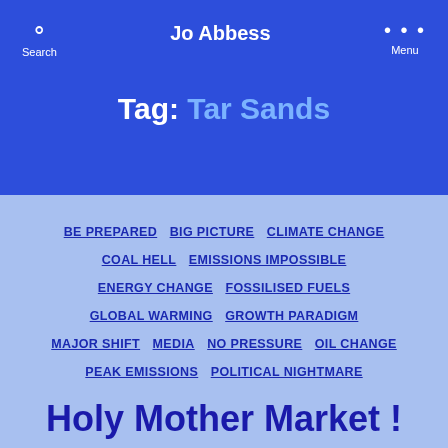Jo Abbess
Tag: Tar Sands
BE PREPARED  BIG PICTURE  CLIMATE CHANGE  COAL HELL  EMISSIONS IMPOSSIBLE  ENERGY CHANGE  FOSSILISED FUELS  GLOBAL WARMING  GROWTH PARADIGM  MAJOR SHIFT  MEDIA  NO PRESSURE  OIL CHANGE  PEAK EMISSIONS  POLITICAL NIGHTMARE  REGULATORY ULTIMATUM  SOCIAL CHANGE  TARRED SANDS
Holy Mother Market !